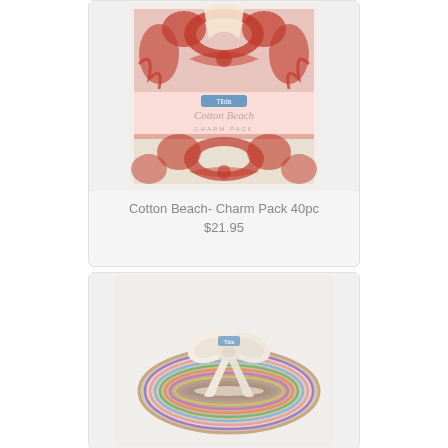[Figure (photo): Cotton Beach Charm Pack 40pc product image showing a fabric bundle with red and cream floral/damask pattern with script text label]
Cotton Beach- Charm Pack 40pc
$21.95
[Figure (photo): Jelly roll fabric product image showing a rolled bundle of multicolored fabric strips tied with a cream ribbon bow]